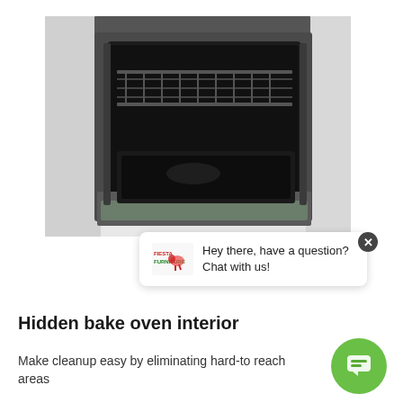[Figure (photo): Open oven with black interior, wire racks visible, oven door open at an angle, set in a white kitchen cabinet]
[Figure (screenshot): Chat widget bubble with Fiesta Furniture logo and text: Hey there, have a question? Chat with us!]
Hidden bake oven interior
Make cleanup easy by eliminating hard-to reach areas